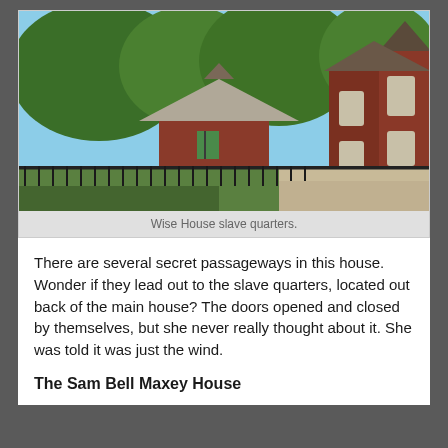[Figure (photo): Outdoor photograph showing the Wise House slave quarters — a small red cottage with decorative gabled roof in the center, surrounded by large green trees, and a large Victorian red brick house on the right side. A black iron fence runs along the front.]
Wise House slave quarters.
There are several secret passageways in this house. Wonder if they lead out to the slave quarters, located out back of the main house? The doors opened and closed by themselves, but she never really thought about it. She was told it was just the wind.
The Sam Bell Maxey House